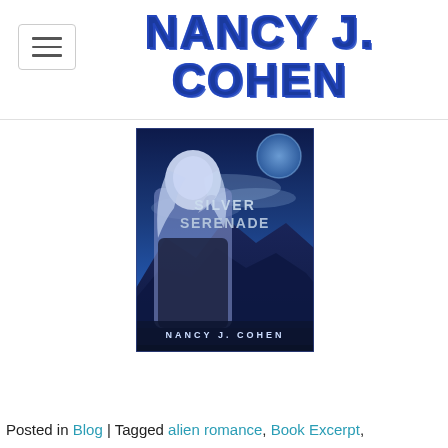Nancy J. Cohen
[Figure (illustration): Book cover for 'Silver Serenade' by Nancy J. Cohen. Shows a blonde woman in a dark outfit against a blue-toned sci-fi landscape with mountains and a large moon. Text reads 'Silver Serenade' and 'Nancy J. Cohen'.]
Posted in Blog | Tagged alien romance, Book Excerpt,